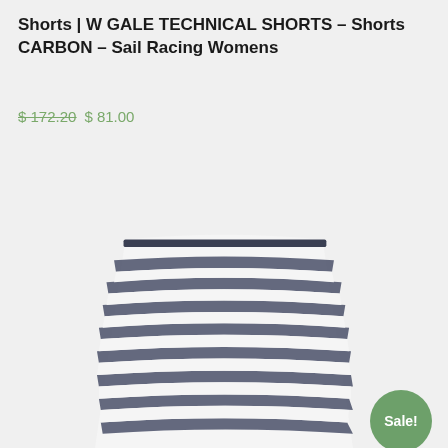Shorts | W GALE TECHNICAL SHORTS – Shorts CARBON – Sail Racing Womens
$ 172.20 $ 81.00
Select options
[Figure (photo): White and dark navy striped technical shorts (Sail Racing Womens W Gale Technical Shorts in Carbon color), showing the waistband and upper portion of the shorts with horizontal ribbed stripes pattern.]
Sale!